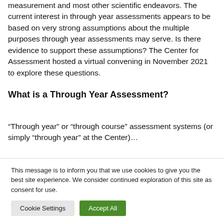measurement and most other scientific endeavors. The current interest in through year assessments appears to be based on very strong assumptions about the multiple purposes through year assessments may serve. Is there evidence to support these assumptions? The Center for Assessment hosted a virtual convening in November 2021 to explore these questions.
What is a Through Year Assessment?
“Through year” or “through course” assessment systems (or simply “through year” at the Center)...
This message is to inform you that we use cookies to give you the best site experience. We consider continued exploration of this site as consent for use.